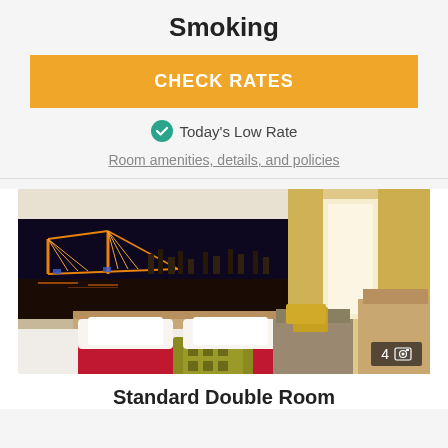Smoking
CHECK RATES
Today's Low Rate
Room amenities, details, and policies
[Figure (photo): Hotel room with a large bed, white pillows, red bed runner with yellow decorative pillow, and a mural of an illuminated bridge at night on the headboard wall. Beige curtains and wooden furniture visible. Badge showing '4' photos in bottom right corner.]
Standard Double Room